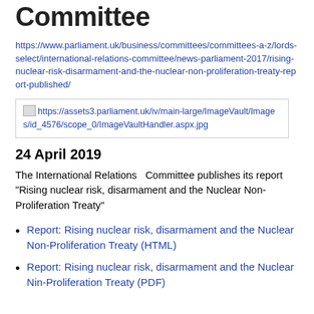Committee
https://www.parliament.uk/business/committees/committees-a-z/lords-select/international-relations-committee/news-parliament-2017/rising-nuclear-risk-disarmament-and-the-nuclear-non-proliferation-treaty-report-published/
[Figure (other): Broken image placeholder linking to https://assets3.parliament.uk/iv/main-large/ImageVault/Images/id_4576/scope_0/ImageVaultHandler.aspx.jpg]
24 April 2019
The International Relations  Committee publishes its report "Rising nuclear risk, disarmament and the Nuclear Non-Proliferation Treaty"
Report: Rising nuclear risk, disarmament and the Nuclear Non-Proliferation Treaty (HTML)
Report: Rising nuclear risk, disarmament and the Nuclear Nin-Proliferation Treaty (PDF)